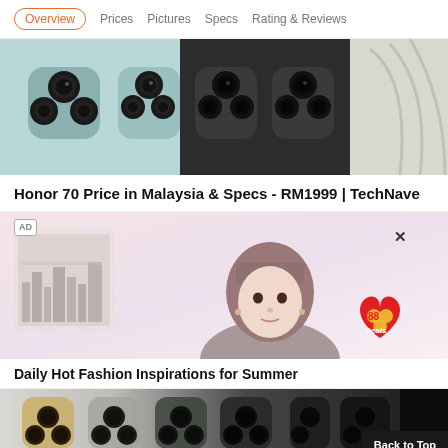Overview  Prices  Pictures  Specs  Rating & Reviews
[Figure (photo): Honor 70 smartphone cameras — multiple color variants shown from back, teal/mint, black, and silver/white]
Honor 70 Price in Malaysia & Specs - RM1999 | TechNave
[Figure (photo): Advertisement: young woman with pink/brown hair against light pink/purple background, with a cityscape painting on left. '88 Deals' badge overlay bottom right. AD label top left. X close button.]
Daily Hot Fashion Inspirations for Summer
[Figure (photo): Multiple iPhone variants shown from back — gold, space gray, dark colors, triple camera systems visible. Partial view at bottom of page.]